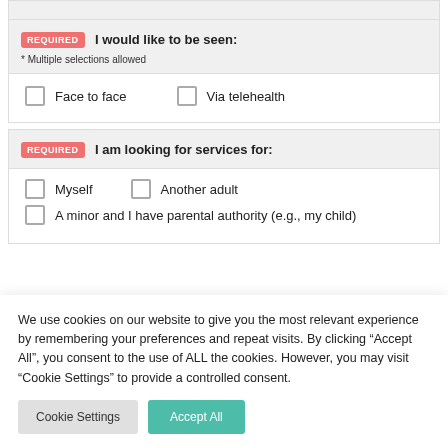REQUIRED I would like to be seen:
* Multiple selections allowed
Face to face
Via telehealth
REQUIRED I am looking for services for:
Myself
Another adult
A minor and I have parental authority (e.g., my child)
We use cookies on our website to give you the most relevant experience by remembering your preferences and repeat visits. By clicking “Accept All”, you consent to the use of ALL the cookies. However, you may visit “Cookie Settings” to provide a controlled consent.